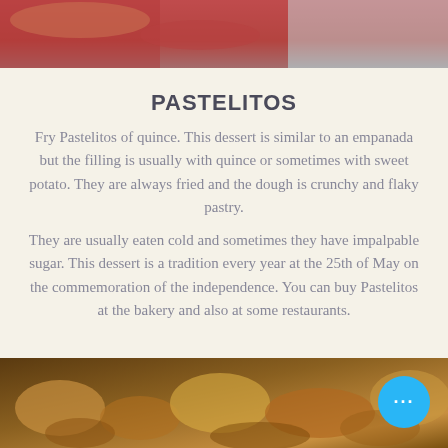[Figure (photo): Top portion of a food photo showing pastries, partially cropped]
PASTELITOS
Fry Pastelitos of quince. This dessert is similar to an empanada but the filling is usually with quince or sometimes with sweet potato. They are always fried and the dough is crunchy and flaky pastry.
They are usually eaten cold and sometimes they have impalpable sugar. This dessert is a tradition every year at the 25th of May on the commemoration of the independence. You can buy Pastelitos at the bakery and also at some restaurants.
[Figure (photo): Bottom portion showing close-up of fried pastelitos pastries, golden brown]